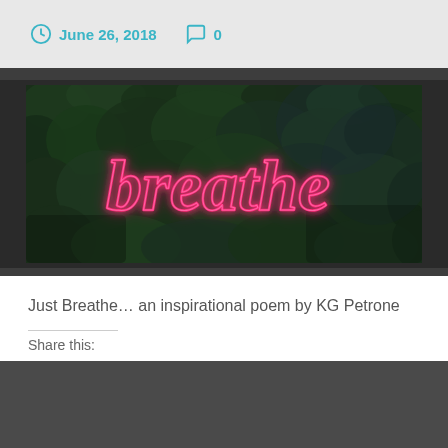June 26, 2018   0
[Figure (photo): Neon sign spelling 'breathe' in pink cursive script against a dark background of foliage/leaves]
Just Breathe… an inspirational poem by KG Petrone
Share this: